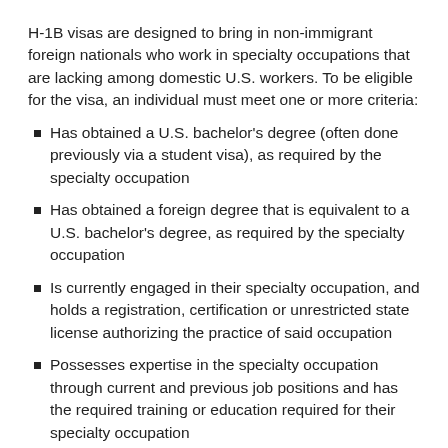H-1B visas are designed to bring in non-immigrant foreign nationals who work in specialty occupations that are lacking among domestic U.S. workers. To be eligible for the visa, an individual must meet one or more criteria:
Has obtained a U.S. bachelor's degree (often done previously via a student visa), as required by the specialty occupation
Has obtained a foreign degree that is equivalent to a U.S. bachelor's degree, as required by the specialty occupation
Is currently engaged in their specialty occupation, and holds a registration, certification or unrestricted state license authorizing the practice of said occupation
Possesses expertise in the specialty occupation through current and previous job positions and has the required training or education required for their specialty occupation